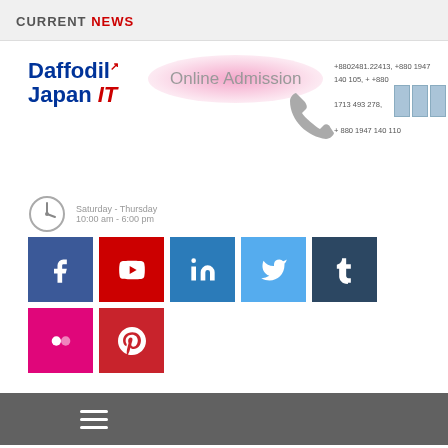CURRENT NEWS
[Figure (logo): Daffodil Japan IT logo with blue and red text]
Online Admission
+8802481.22413, +880 1947 140 105, ++880 1713 493 278, +880 1947 140 110
[Figure (infographic): Phone icon in grey]
Saturday - Thursday
10:00 am - 6:00 pm
[Figure (infographic): Social media icons: Facebook, YouTube, LinkedIn, Twitter, Tumblr, Flickr, Pinterest]
Navigation menu hamburger icon